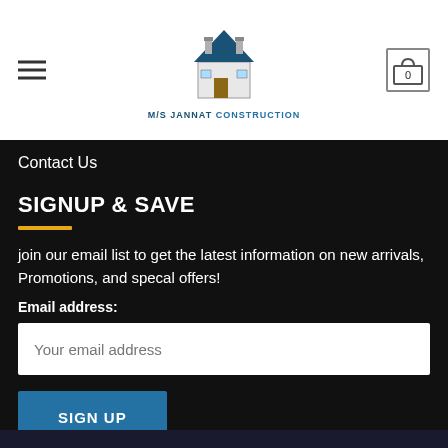[Figure (logo): M/S Jannat Construction logo — a house illustration with blue roof above the text 'M/S JANNAT CONSTRUCTION']
Contact Us
SIGNUP & SAVE
join our email list to get the latest information on new arrivals, Promotions, and specal offers!
Email address:
Your email address
SIGN UP